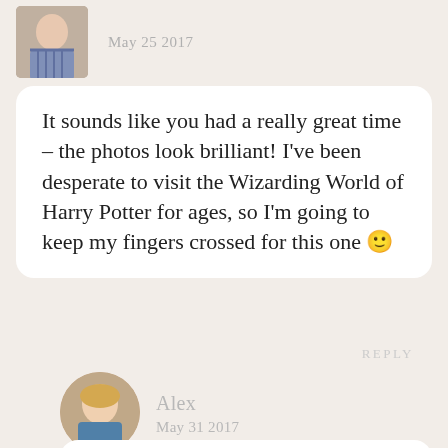[Figure (photo): Small square profile photo of a woman in a striped top, cropped at top]
May 25 2017
It sounds like you had a really great time – the photos look brilliant! I've been desperate to visit the Wizarding World of Harry Potter for ages, so I'm going to keep my fingers crossed for this one 🙂
REPLY
[Figure (photo): Circular profile photo of a blonde woman named Alex]
Alex
May 31 2017
Ah, good luck Katie! It really is an out of this world experience — they did an AMAZING job on those two Harry Potter...